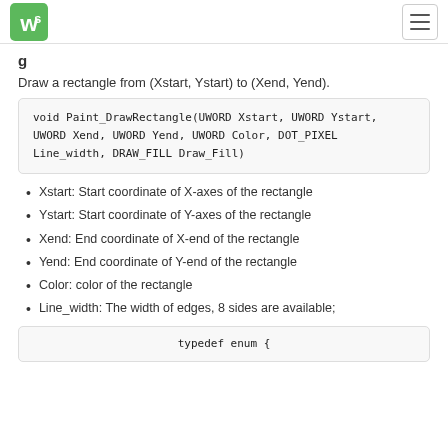WS logo and navigation
Draw a rectangle from (Xstart, Ystart) to (Xend, Yend).
void Paint_DrawRectangle(UWORD Xstart, UWORD Ystart, UWORD Xend, UWORD Yend, UWORD Color, DOT_PIXEL Line_width, DRAW_FILL Draw_Fill)
Xstart: Start coordinate of X-axes of the rectangle
Ystart: Start coordinate of Y-axes of the rectangle
Xend: End coordinate of X-end of the rectangle
Yend: End coordinate of Y-end of the rectangle
Color: color of the rectangle
Line_width: The width of edges, 8 sides are available;
typedef enum {